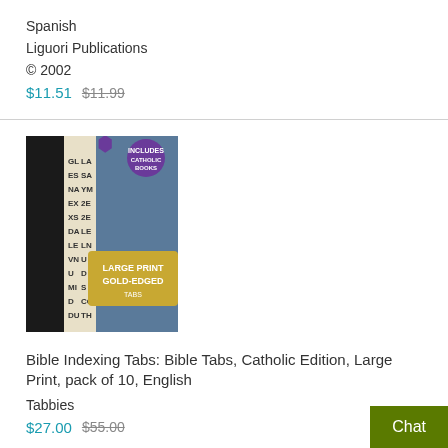Spanish
Liguori Publications
© 2002
$11.51  $11.99
[Figure (photo): Bible Indexing Tabs product image showing a Bible with large print gold-edged tabs, Catholic Books label visible]
Bible Indexing Tabs: Bible Tabs, Catholic Edition, Large Print, pack of 10, English
Tabbies
$27.00  $55.00
Chat